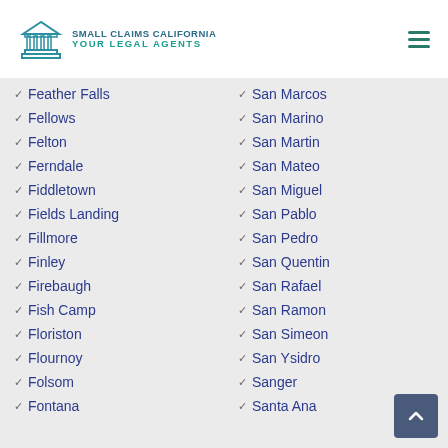Small Claims California - Your Legal Agents
Feather Falls
Fellows
Felton
Ferndale
Fiddletown
Fields Landing
Fillmore
Finley
Firebaugh
Fish Camp
Floriston
Flournoy
Folsom
Fontana
San Marcos
San Marino
San Martin
San Mateo
San Miguel
San Pablo
San Pedro
San Quentin
San Rafael
San Ramon
San Simeon
San Ysidro
Sanger
Santa Ana